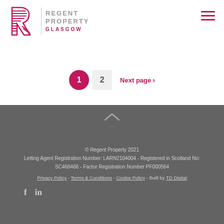[Figure (logo): Regent Property Glasgow logo with stylized R, vertical divider, and text REGENT PROPERTY GLASGOW]
[Figure (other): Hamburger menu icon (three horizontal lines) in top right corner]
1 (current page, active)
2 (page link)
Next page >
© Regent Property 2021
Letting Agent Registration Number: LARN2104004 - Registered in Scotland No: SC468466 - Factor Registration Number PF000564
Privacy Policy - Terms & Conditions - Cookie Policy - Built by TD Digital